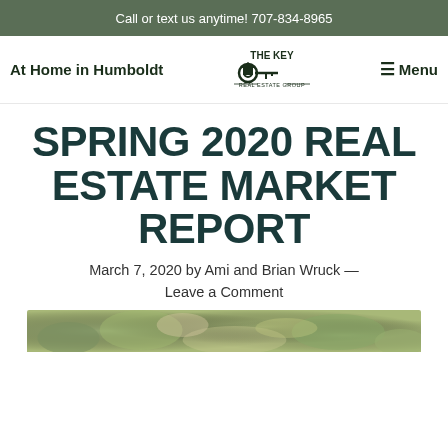Call or text us anytime! 707-834-8965
[Figure (logo): Navigation bar with 'At Home in Humboldt' text on left, 'The Key Real Estate Group' logo in center, and Menu icon on right]
SPRING 2020 REAL ESTATE MARKET REPORT
March 7, 2020 by Ami and Brian Wruck — Leave a Comment
[Figure (photo): Partial image of outdoor foliage/garden scene at the bottom of the page]